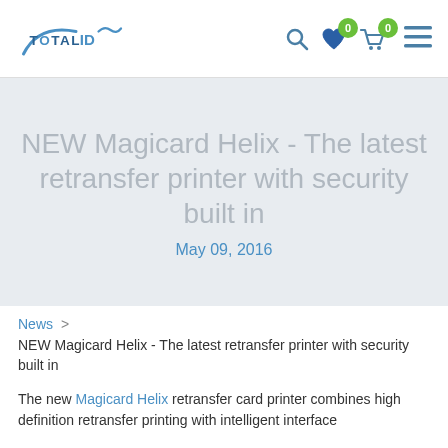Total ID — navigation header with logo, search, wishlist (0), cart (0), and menu
NEW Magicard Helix - The latest retransfer printer with security built in
May 09, 2016
News > NEW Magicard Helix - The latest retransfer printer with security built in
The new Magicard Helix retransfer card printer combines high definition retransfer printing with intelligent interface